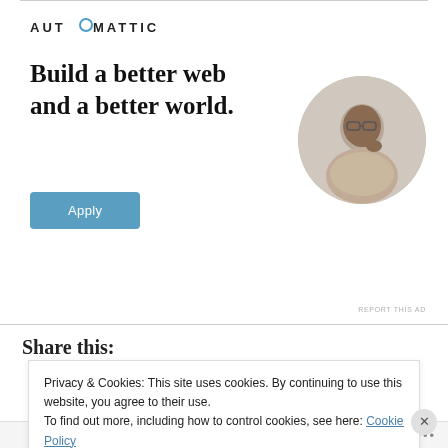[Figure (logo): Automattic logo with circular 'O' accent in light blue]
Build a better web and a better world.
[Figure (photo): Circular cropped photo of a man with glasses looking upward, hand on chin, sitting at a desk]
Apply
REPORT THIS AD
Share this:
Privacy & Cookies: This site uses cookies. By continuing to use this website, you agree to their use.
To find out more, including how to control cookies, see here: Cookie Policy
Close and accept